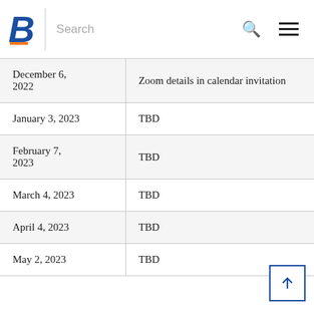Boise State University — Search navigation bar
| Date | Location/Details |
| --- | --- |
| December 6, 2022 | Zoom details in calendar invitation |
| January 3, 2023 | TBD |
| February 7, 2023 | TBD |
| March 4, 2023 | TBD |
| April 4, 2023 | TBD |
| May 2, 2023 | TBD |